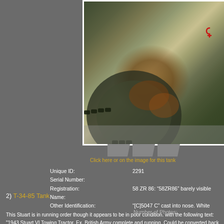[Figure (photo): Close-up photograph of a tank track/drive wheel, heavily rusted and weathered, with green paint and rust visible. A red tow hook is visible in the upper right.]
Click here or on the image for this tank
Unique ID: 2291
Serial Number:
Registration: 58 ZR 86: "58ZR86" barely visible
Name:
Other Identification: "[C]5047 C" cast into nose. White
This Stuart is in running order though it appears to be in poor condition. with the following text: "1943 Stuart VI Towing Tractor. Ex. British Army complete and running. Could be converted back to U.S. spec. Some m Preston, UK. Delivery possible anywhere in Europe. Road registered, £20,000, may swop p/x WHY."
2) T-34-85 Tank
Number of Photos: